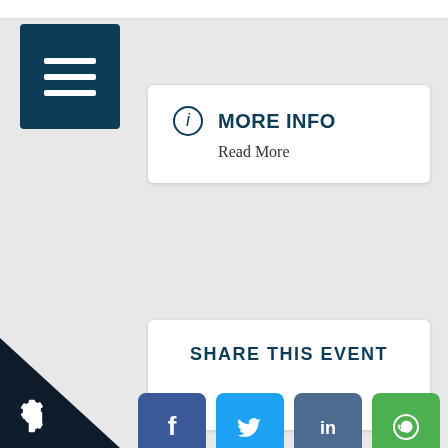[Figure (screenshot): Hamburger menu icon button with three white horizontal lines on dark navy background]
MORE INFO
Read More
SHARE THIS EVENT
[Figure (infographic): Social media share buttons: Facebook, Twitter, LinkedIn, WhatsApp, Telegram, Email]